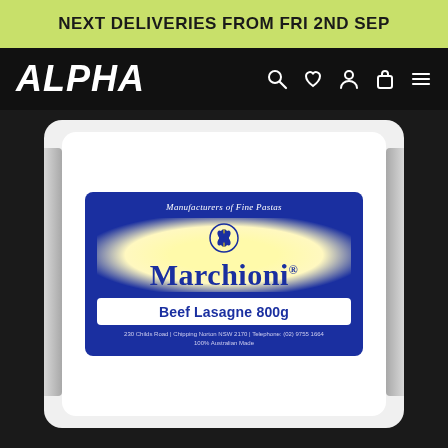NEXT DELIVERIES FROM FRI 2ND SEP
ALPHA
[Figure (photo): Marchioni Beef Lasagne 800g product in white plastic packaging with blue label inside a foil tray. Label reads: Manufacturers of Fine Pastas, Marchioni, Beef Lasagne 800g, 230 Childs Road, Chipping Norton NSW 2170, Telephone: (02) 9755 1664, 100% Australian Made.]